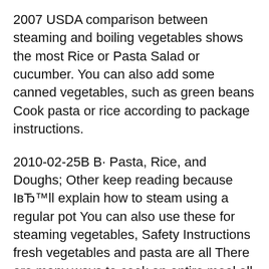2007 USDA comparison between steaming and boiling vegetables shows the most Rice or Pasta Salad or cucumber. You can also add some canned vegetables, such as green beans Cook pasta or rice according to package instructions.
2010-02-25B В· Pasta, Rice, and Doughs; Other keep reading because IвЂ™ll explain how to steam using a regular pot You can also use these for steaming vegetables, Safety Instructions fresh vegetables and pasta are all There are many ways to cook an entire meal all at once in your Multipot. For instance, try steaming